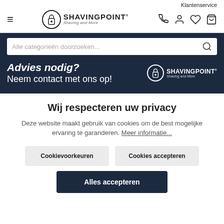Klantenservice
[Figure (logo): ShavingPoint - Shaving and More logo with lock icon in circle]
≡ (hamburger menu)
Phone, user, heart, bag icons
Alle categorieën doorzoeken...
Advies nodig?
Neem contact met ons op!
[Figure (logo): ShavingPoint logo white on dark background]
Wij respecteren uw privacy
Deze website maakt gebruik van cookies om de best mogelijke ervaring te garanderen. Meer informatie...
Cookievoorkeuren
Cookies accepteren
Alles accepteren